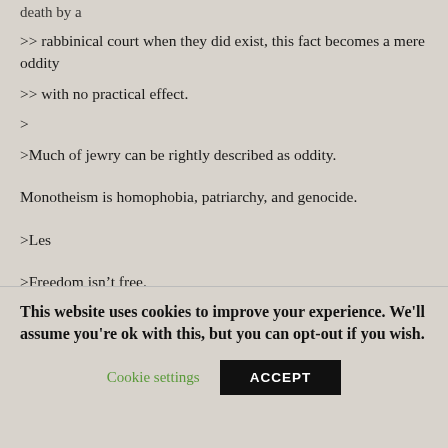death by a
>> rabbinical court when they did exist, this fact becomes a mere
oddity
>> with no practical effect.
>
>Much of jewry can be rightly described as oddity.
Monotheism is homophobia, patriarchy, and genocide.
>Les
>Freedom isn't free.
>Free men aren't equal.
This website uses cookies to improve your experience. We'll assume you're ok with this, but you can opt-out if you wish.
Cookie settings
ACCEPT